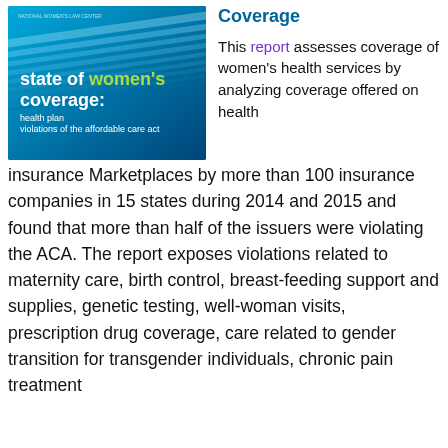[Figure (illustration): Book cover titled 'state of women's coverage: health plan violations of the affordable care act' with teal/blue gradient background and stacked paper imagery]
Coverage
This report assesses coverage of women's health services by analyzing coverage offered on health insurance Marketplaces by more than 100 insurance companies in 15 states during 2014 and 2015 and found that more than half of the issuers were violating the ACA. The report exposes violations related to maternity care, birth control, breast-feeding support and supplies, genetic testing, well-woman visits, prescription drug coverage, care related to gender transition for transgender individuals, chronic pain treatment